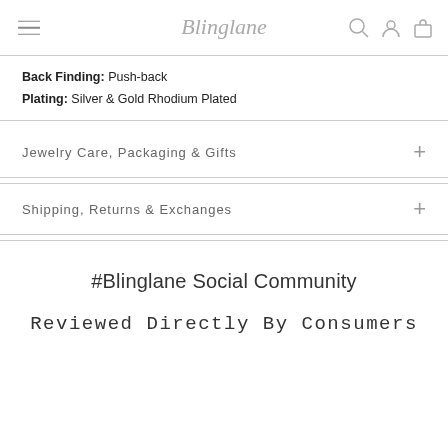Blinglane logo with navigation icons
Back Finding: Push-back
Plating: Silver & Gold Rhodium Plated
Jewelry Care, Packaging & Gifts
Shipping, Returns & Exchanges
#Blinglane Social Community
Reviewed Directly By Consumers